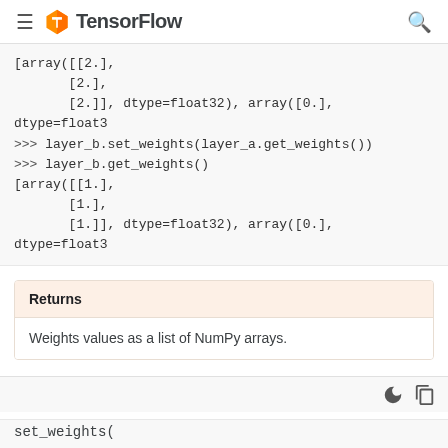TensorFlow
[array([[2.],
       [2.],
       [2.]], dtype=float32), array([0.], dtype=float3
>>> layer_b.set_weights(layer_a.get_weights())
>>> layer_b.get_weights()
[array([[1.],
       [1.],
       [1.]], dtype=float32), array([0.], dtype=float3
Returns
Weights values as a list of NumPy arrays.
set_weights
set_weights(